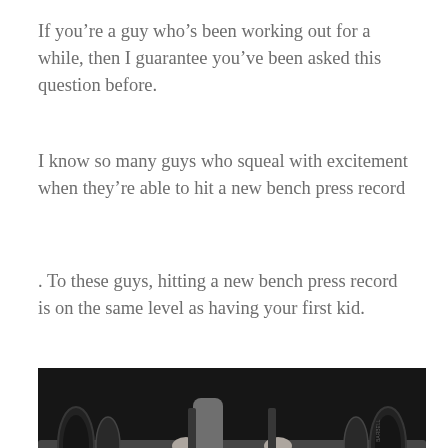If you're a guy who's been working out for a while, then I guarantee you've been asked this question before.
I know so many guys who squeal with excitement when they're able to hit a new bench press record
. To these guys, hitting a new bench press record is on the same level as having your first kid.
[Figure (photo): Black and white photo of a person performing a bench press with a heavily loaded barbell in a gym setting. A spotter stands behind. The lifter is lying on a bench gripping a barbell loaded with large weight plates.]